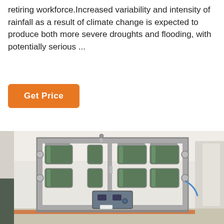retiring workforce.Increased variability and intensity of rainfall as a result of climate change is expected to produce both more severe droughts and flooding, with potentially serious ...
Get Price
[Figure (photo): Industrial water treatment or filtration system with a large metal rack frame holding multiple cylindrical filter vessels and pipes, set in a factory or warehouse environment.]